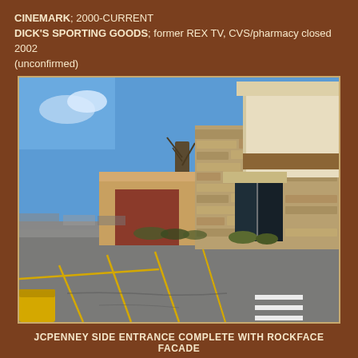CINEMARK; 2000-CURRENT
DICK'S SPORTING GOODS; former REX TV, CVS/pharmacy closed 2002
(unconfirmed)
[Figure (photo): Exterior photograph of a retail strip mall building showing a JCPenney side entrance with a rockface facade. The building has a large cream/beige upper facade with a stone/rockface lower section and a dark glass entrance. A parking lot with yellow lines is in the foreground, trees visible in the background, blue sky above.]
JCPENNEY SIDE ENTRANCE COMPLETE WITH ROCKFACE FACADE